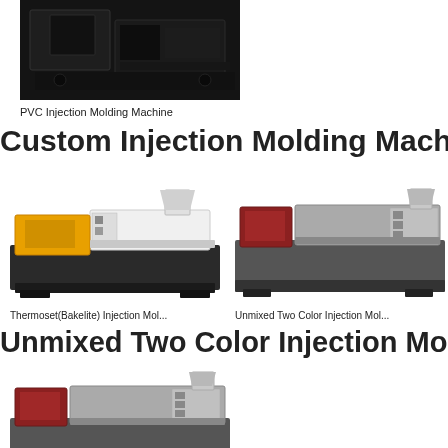[Figure (photo): PVC Injection Molding Machine - dark industrial machine photo]
PVC Injection Molding Machine
Custom Injection Molding Machines
[Figure (photo): Thermoset(Bakelite) Injection Molding Machine - yellow and white injection molding machine]
[Figure (photo): Unmixed Two Color Injection Molding Machine - grey injection molding machine]
Thermoset(Bakelite) Injection Mol...
Unmixed Two Color Injection Mol...
Unmixed Two Color Injection Molding Mac
[Figure (photo): Unmixed Two Color Injection Molding Machine - grey machine bottom view]